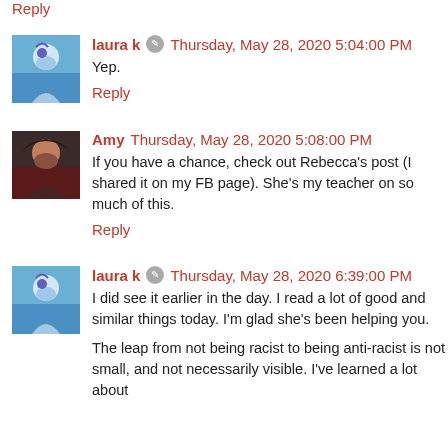Reply
laura k  Thursday, May 28, 2020 5:04:00 PM
Yep.
Reply
Amy  Thursday, May 28, 2020 5:08:00 PM
If you have a chance, check out Rebecca's post (I shared it on my FB page). She's my teacher on so much of this.
Reply
laura k  Thursday, May 28, 2020 6:39:00 PM
I did see it earlier in the day. I read a lot of good and similar things today. I'm glad she's been helping you.
The leap from not being racist to being anti-racist is not small, and not necessarily visible. I've learned a lot about